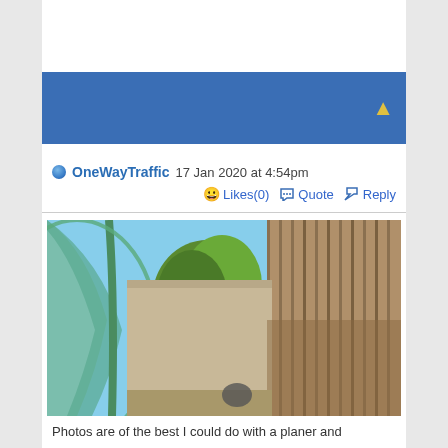OneWayTraffic 17 Jan 2020 at 4:54pm
😀 Likes(0)  Quote  Reply
[Figure (photo): Outdoor photo showing wooden planks/boards, green shade cloth/tarpaulin curved frame, trees and blue sky in the background]
Photos are of the best I could do with a planer and